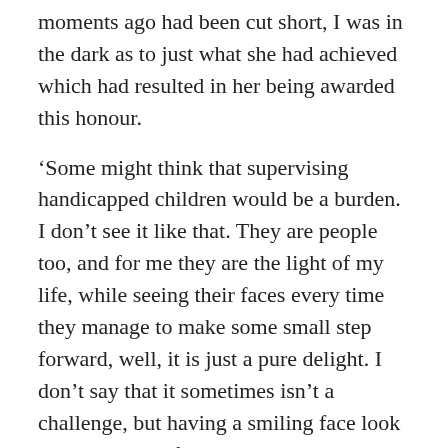moments ago had been cut short, I was in the dark as to just what she had achieved which had resulted in her being awarded this honour.
‘Some might think that supervising handicapped children would be a burden. I don’t see it like that. They are people too, and for me they are the light of my life, while seeing their faces every time they manage to make some small step forward, well, it is just a pure delight. I don’t say that it sometimes isn’t a challenge, but having a smiling face look back up at you far outweighs any obstacles that may ever be placed in front of us as we care for these angels.’
For a full five minutes she continued to speak, and I was simply enthralled. Here was a woman who, I soon learned, had given up her own teaching career to help care for a handicapped foster child. One soon became three, and it